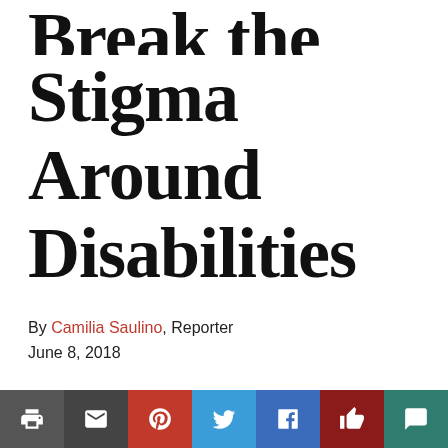Break the Stigma Around Disabilities
By Camilia Saulino, Reporter
June 8, 2018
For a long time, sports were just thought to be for able-
[Figure (other): Social sharing bar with icons for print, email, Pinterest, Twitter, Facebook, like, and comment]